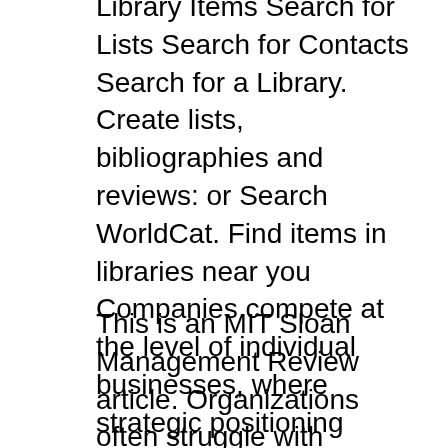WorldCat Help: Search: Search for Library Items Search for Lists Search for Contacts Search for a Library. Create lists, bibliographies and reviews: or Search WorldCat. Find items in libraries near you Companies compete at the level of individual businesses, where strategic positioning within an industry creates value for customers. Successful strategy at the corporate level must produce a clear and significant benefit to the competitive advantage of business units. More about business unit strategy
This is an MIT Sloan Management Review article. Organizations often struggle with corporate strategy because they lack clarity and...